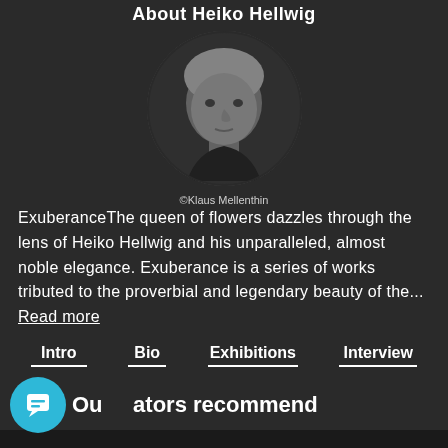About Heiko Hellwig
[Figure (photo): Black and white circular portrait photo of Heiko Hellwig, an older man with light hair, credited to ©Klaus Mellenthin]
©Klaus Mellenthin
ExuberanceThe queen of flowers dazzles through the lens of Heiko Hellwig and his unparalleled, almost noble elegance. Exuberance is a series of works tributed to the proverbial and legendary beauty of the... Read more
Intro
Bio
Exhibitions
Interview
Our curators recommend